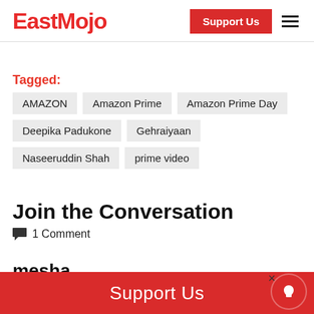EastMojo | Support Us
Tagged: AMAZON  Amazon Prime  Amazon Prime Day  Deepika Padukone  Gehraiyaan  Naseeruddin Shah  prime video
Join the Conversation
1 Comment
mesha
Support Us